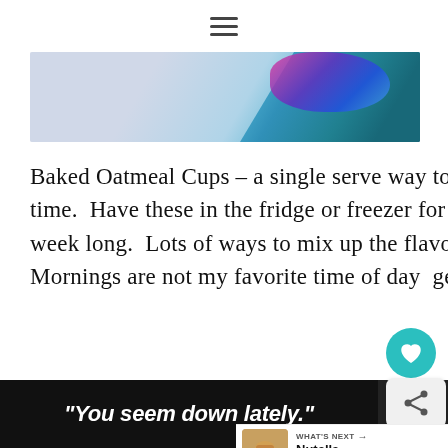[Figure (photo): Partial view of a food/craft photo with colorful background, cropped at top]
Baked Oatmeal Cups – a single serve way to make baked oatmeal ahead of time. Have these in the fridge or freezer for quick and easy breakfasts all week long. Lots of ways to mix up the flavors for the whole family! Mornings are not my favorite time of day. I get up early enough...
[Figure (other): READ MORE teal/turquoise button]
[Figure (other): What's Next promo card showing Nutella Muffins]
[Figure (other): Advertisement banner at bottom: 'You seem down lately.' in white italic text on dark background with logo]